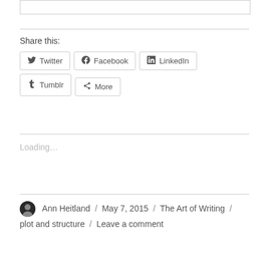Share this:
Twitter / Facebook / LinkedIn / Tumblr / More
Loading...
Ann Heitland / May 7, 2015 / The Art of Writing / plot and structure / Leave a comment